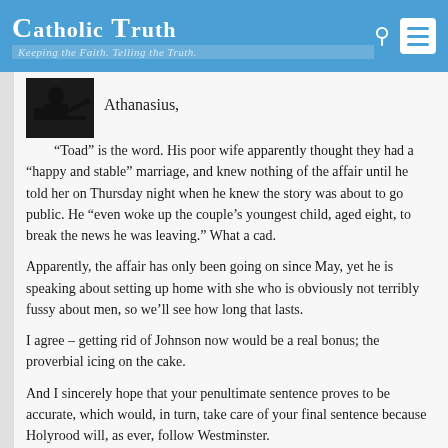Catholic Truth — Keeping the Faith. Telling the Truth.
Athanasius,
“Toad” is the word. His poor wife apparently thought they had a “happy and stable” marriage, and knew nothing of the affair until he told her on Thursday night when he knew the story was about to go public. He “even woke up the couple’s youngest child, aged eight, to break the news he was leaving.” What a cad.
Apparently, the affair has only been going on since May, yet he is speaking about setting up home with she who is obviously not terribly fussy about men, so we’ll see how long that lasts.
I agree – getting rid of Johnson now would be a real bonus; the proverbial icing on the cake.
And I sincerely hope that your penultimate sentence proves to be accurate, which would, in turn, take care of your final sentence because Holyrood will, as ever, follow Westminster.